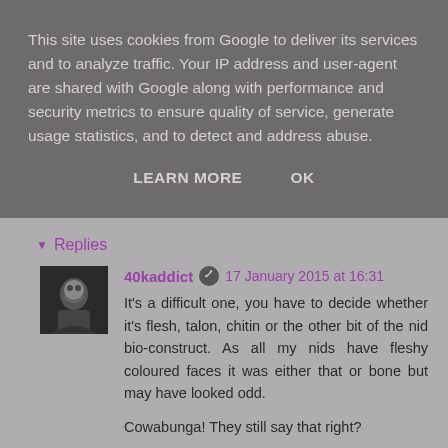This site uses cookies from Google to deliver its services and to analyze traffic. Your IP address and user-agent are shared with Google along with performance and security metrics to ensure quality of service, generate usage statistics, and to detect and address abuse.
LEARN MORE   OK
Replies
40kaddict  17 January 2015 at 16:31
It's a difficult one, you have to decide whether it's flesh, talon, chitin or the other bit of the nid bio-construct. As all my nids have fleshy coloured faces it was either that or bone but may have looked odd.

Cowabunga! They still say that right?
Reply